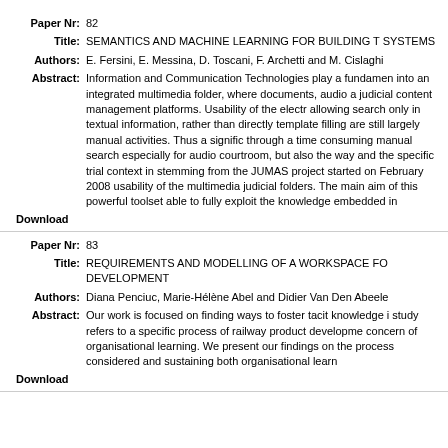Paper Nr: 82
Title: SEMANTICS AND MACHINE LEARNING FOR BUILDING T SYSTEMS
Authors: E. Fersini, E. Messina, D. Toscani, F. Archetti and M. Cislaghi
Abstract: Information and Communication Technologies play a fundamen into an integrated multimedia folder, where documents, audio a judicial content management platforms. Usability of the electr allowing search only in textual information, rather than directly template filling are still largely manual activities. Thus a signific through a time consuming manual search especially for audio courtroom, but also the way and the specific trial context in stemming from the JUMAS project started on February 2008 usability of the multimedia judicial folders. The main aim of this powerful toolset able to fully exploit the knowledge embedded in
Download
Paper Nr: 83
Title: REQUIREMENTS AND MODELLING OF A WORKSPACE FO DEVELOPMENT
Authors: Diana Penciuc, Marie-Hélène Abel and Didier Van Den Abeele
Abstract: Our work is focused on finding ways to foster tacit knowledge i study refers to a specific process of railway product developme concern of organisational learning. We present our findings on the process considered and sustaining both organisational learn
Download